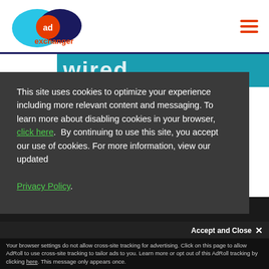Ad Exchanger logo and navigation menu
[Figure (screenshot): Partially visible teal banner with white bold text reading 'wired' or similar]
This site uses cookies to optimize your experience including more relevant content and messaging. To learn more about disabling cookies in your browser, click here.  By continuing to use this site, you accept our use of cookies. For more information, view our updated Privacy Policy.
Accept and Close ✕
Your browser settings do not allow cross-site tracking for advertising. Click on this page to allow AdRoll to use cross-site tracking to tailor ads to you. Learn more or opt out of this AdRoll tracking by clicking here. This message only appears once.